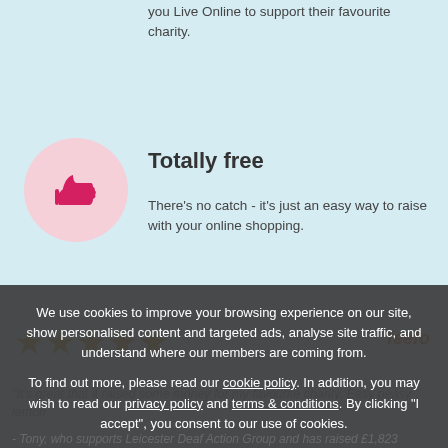you Live Online to support their favourite charity.
Totally free
There's no catch - it's just an easy way to raise with your online shopping.
[Figure (illustration): Pink circle with a red thumbs-up icon]
We use cookies to improve your browsing experience on our site, show personalised content and targeted ads, analyse site traffic, and understand where our members are coming from.

To find out more, please read our cookie policy. In addition, you may wish to read our privacy policy and terms & conditions. By clicking "I accept", you consent to our use of cookies.
✓ Accept all cookies
⚙ Manage settings